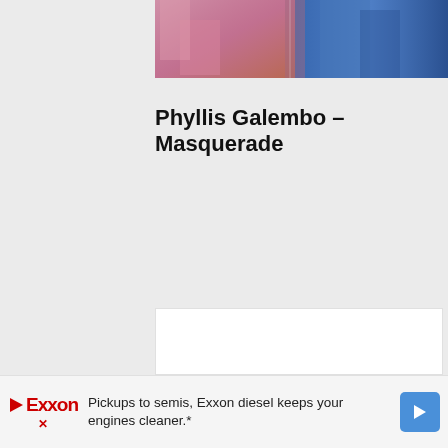[Figure (photo): Cropped top portion of a photograph showing two people in colorful costumes — one in pink/rose tones on the left, one in blue tones on the right]
Phyllis Galembo – Masquerade
[Figure (other): Large white content/embed area (advertisement or media embed placeholder)]
Pickups to semis, Exxon diesel keeps your engines cleaner.*